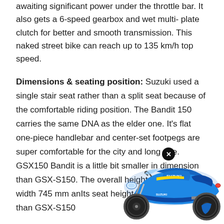awaiting significant power under the throttle bar. It also gets a 6-speed gearbox and wet multi-plate clutch for better and smooth transmission. This naked street bike can reach up to 135 km/h top speed.
Dimensions & seating position: Suzuki used a single stair seat rather than a split seat because of the comfortable riding position. The Bandit 150 carries the same DNA as the elder one. It's flat one-piece handlebar and center-set footpegs are super comfortable for the city and long ride. GSX150 Bandit is a little bit smaller in dimension than GSX-S150. The overall height is 1035 mm, width 745 mm and Its seat height is 5 mm higher than GSX-S150
[Figure (photo): Blue Suzuki GSX-S150 / Bandit 150 motorcycle shown from the side against a white background, with a circular close (X) button overlay in the upper left of the image.]